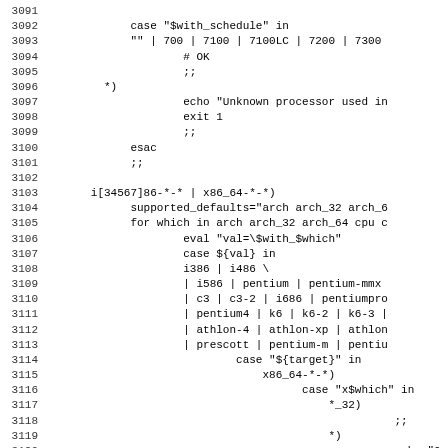Source code listing lines 3091-3122 showing shell script case statements for processor architecture detection